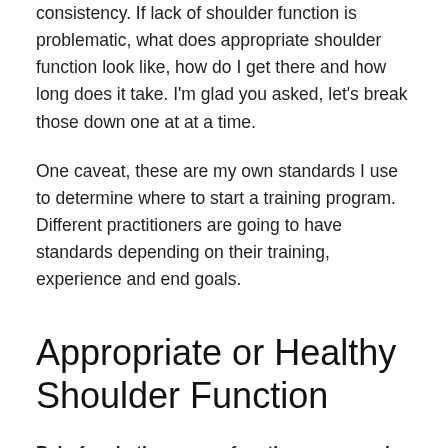consistency. If lack of shoulder function is problematic, what does appropriate shoulder function look like, how do I get there and how long does it take. I'm glad you asked, let's break those down one at at a time.
One caveat, these are my own standards I use to determine where to start a training program. Different practitioners are going to have standards depending on their training, experience and end goals.
Appropriate or Healthy Shoulder Function
Pain-free in the range of motion we are going to train: I often train people who walk in with some pain, but after warming up they are pain free. That is good enough for